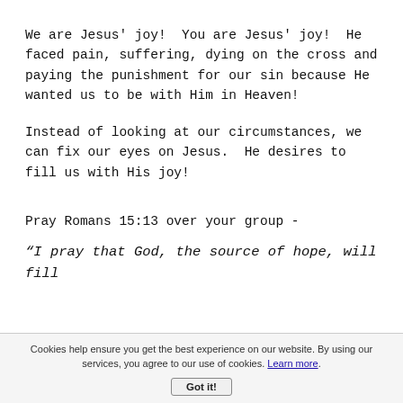We are Jesus' joy!  You are Jesus' joy!  He faced pain, suffering, dying on the cross and paying the punishment for our sin because He wanted us to be with Him in Heaven!
Instead of looking at our circumstances, we can fix our eyes on Jesus.  He desires to fill us with His joy!
Pray Romans 15:13 over your group -
"I pray that God, the source of hope, will fill
Cookies help ensure you get the best experience on our website. By using our services, you agree to our use of cookies. Learn more.
Got it!